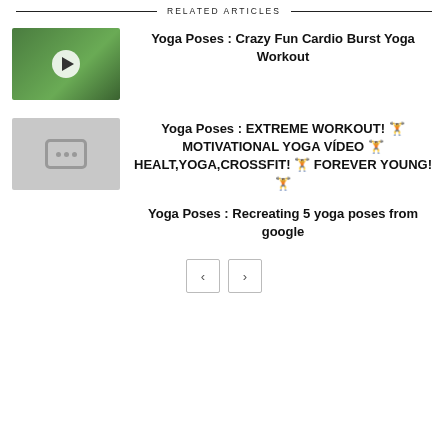RELATED ARTICLES
[Figure (photo): Thumbnail of a woman making an X shape with her arms outdoors with green foliage background, with a play button overlay]
Yoga Poses : Crazy Fun Cardio Burst Yoga Workout
[Figure (screenshot): Gray placeholder thumbnail with a video icon showing three dots]
Yoga Poses : EXTREME WORKOUT! 🏋 MOTIVATIONAL YOGA VÍDEO 🏋 HEALT,YOGA,CROSSFIT! 🏋 FOREVER YOUNG! 🏋
Yoga Poses : Recreating 5 yoga poses from google